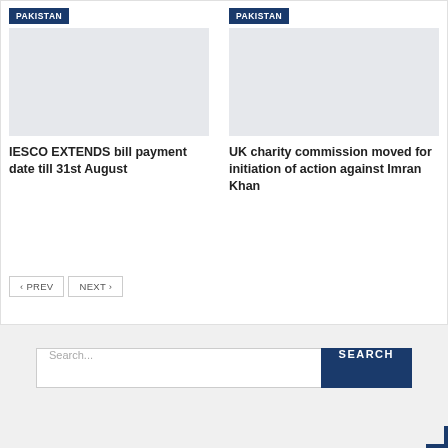[Figure (photo): Placeholder image, light gray background, with PAKISTAN category badge, left card]
IESCO EXTENDS bill payment date till 31st August
[Figure (photo): Placeholder image, light gray background, with PAKISTAN category badge, right card]
UK charity commission moved for initiation of action against Imran Khan
< PREV   NEXT >
Search...
SEARCH